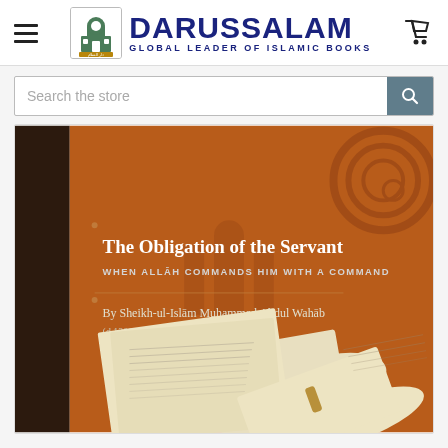DARUSSALAM — GLOBAL LEADER OF ISLAMIC BOOKS
[Figure (screenshot): Search bar with placeholder text 'Search the store' and a dark search button with magnifier icon]
[Figure (photo): Book cover of 'The Obligation of the Servant: When Allah Commands Him with a Command' by Sheikh-ul-Islam Muhammad Abdul Wahab (d.1206 A.H.) — dark brown spine with vertical text 'ATION OF THE TREATISE', orange-brown background with decorative motifs and foreground showing old manuscript scrolls]